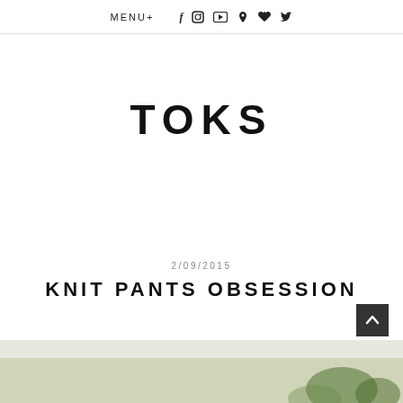MENU+  f  [instagram]  [youtube]  [pinterest]  [heart]  [twitter]
TOKS
2/09/2015
KNIT PANTS OBSESSION
[Figure (photo): Bottom strip showing outdoor/nature photo partially visible at bottom of page]